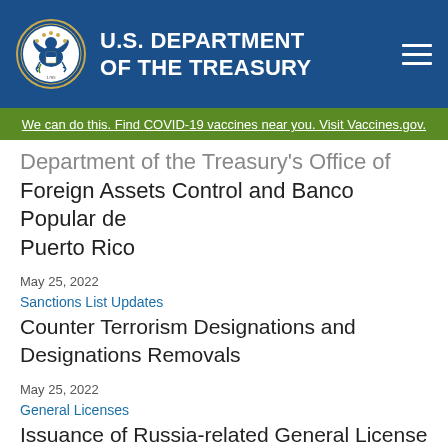U.S. DEPARTMENT OF THE TREASURY
We can do this. Find COVID-19 vaccines near you. Visit Vaccines.gov.
Department of the Treasury's Office of Foreign Assets Control and Banco Popular de Puerto Rico
May 25, 2022
Sanctions List Updates
Counter Terrorism Designations and Designations Removals
May 25, 2022
General Licenses
Issuance of Russia-related General License 13A
May 24, 2022